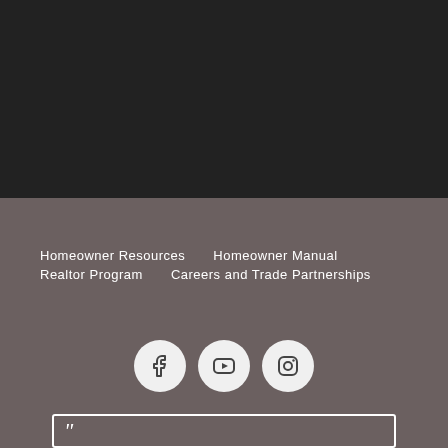[Figure (photo): Dark/black top section background area]
Homeowner Resources
Homeowner Manual
Realtor Program
Careers and Trade Partnerships
[Figure (infographic): Three social media icons in white circles: Facebook, YouTube, Instagram]
[Figure (illustration): White bordered box with quotation mark in bottom area]